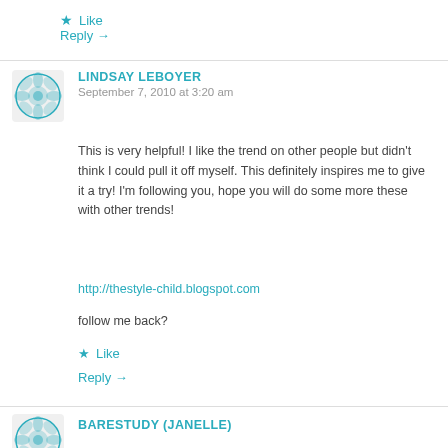★ Like
Reply →
LINDSAY LEBOYER
September 7, 2010 at 3:20 am
This is very helpful! I like the trend on other people but didn't think I could pull it off myself. This definitely inspires me to give it a try! I'm following you, hope you will do some more these with other trends!
http://thestyle-child.blogspot.com
follow me back?
★ Like
Reply →
BARESTUDY (JANELLE)